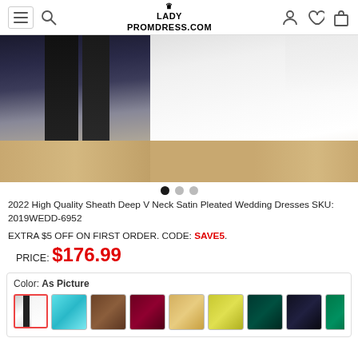LADYPROMDRESS.COM
[Figure (photo): Wedding dress product photo showing lower portion of white satin gown and man in dark suit on wooden floor]
2022 High Quality Sheath Deep V Neck Satin Pleated Wedding Dresses SKU: 2019WEDD-6952
EXTRA $5 OFF ON FIRST ORDER. CODE: SAVE5.
PRICE: $176.99
Color: As Picture